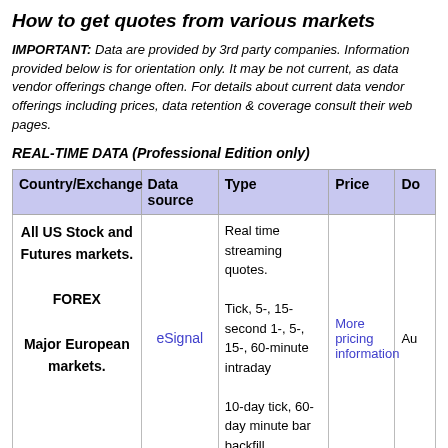How to get quotes from various markets
IMPORTANT: Data are provided by 3rd party companies. Information provided below is for orientation only. It may be not current, as data vendor offerings change often. For details about current data vendor offerings including prices, data retention & coverage consult their web pages.
REAL-TIME DATA (Professional Edition only)
| Country/Exchange | Data source | Type | Price | Do |
| --- | --- | --- | --- | --- |
| All US Stock and Futures markets.
FOREX
Major European markets. | eSignal | Real time streaming quotes.
Tick, 5-, 15- second 1-, 5-, 15-, 60-minute intraday
10-day tick, 60-day minute bar backfill. | More pricing information | Au |